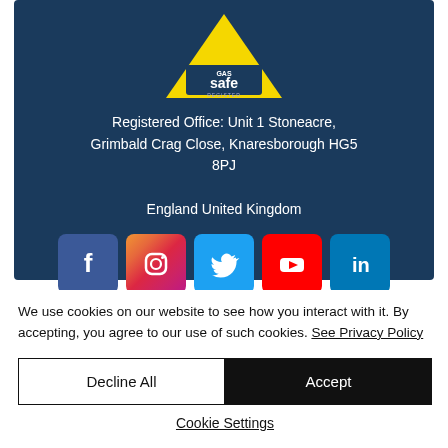[Figure (logo): Gas Safe Register logo — yellow triangle with 'GAS safe REGISTER' text on dark navy background panel]
Registered Office: Unit 1 Stoneacre, Grimbald Crag Close, Knaresborough HG5 8PJ
England United Kingdom
[Figure (infographic): Row of five social media icons: Facebook, Instagram, Twitter, YouTube, LinkedIn]
We use cookies on our website to see how you interact with it. By accepting, you agree to our use of such cookies. See Privacy Policy
Decline All
Accept
Cookie Settings